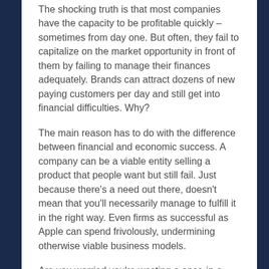The shocking truth is that most companies have the capacity to be profitable quickly – sometimes from day one. But often, they fail to capitalize on the market opportunity in front of them by failing to manage their finances adequately. Brands can attract dozens of new paying customers per day and still get into financial difficulties. Why?
The main reason has to do with the difference between financial and economic success. A company can be a viable entity selling a product that people want but still fail. Just because there's a need out there, doesn't mean that you'll necessarily manage to fulfill it in the right way. Even firms as successful as Apple can spend frivolously, undermining otherwise viable business models.
Are you worried you're wasting a once-in-a-lifetime opportunity by failing to manage your finances